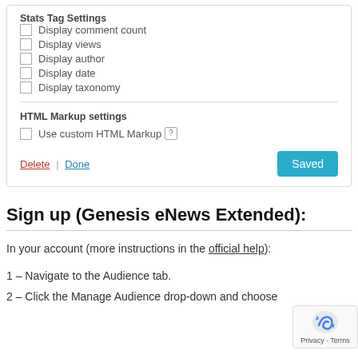Stats Tag Settings
Display comment count
Display views
Display author
Display date
Display taxonomy
HTML Markup settings
Use custom HTML Markup
Delete | Done   Saved
Sign up (Genesis eNews Extended):
In your account (more instructions in the official help):
1 – Navigate to the Audience tab.
2 – Click the Manage Audience drop-down and choose